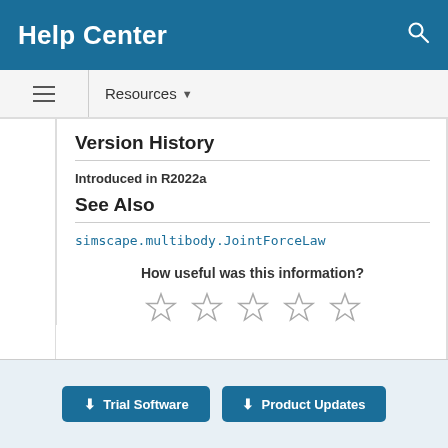Help Center
Resources
Version History
Introduced in R2022a
See Also
simscape.multibody.JointForceLaw
How useful was this information?
[Figure (other): Five empty star rating icons]
Trial Software
Product Updates